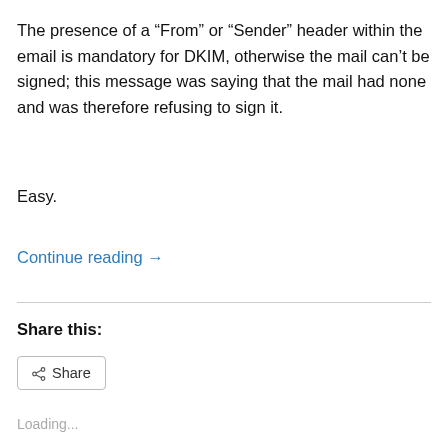The presence of a “From” or “Sender” header within the email is mandatory for DKIM, otherwise the mail can’t be signed; this message was saying that the mail had none and was therefore refusing to sign it.
Easy.
Continue reading →
Share this:
Share
Loading...